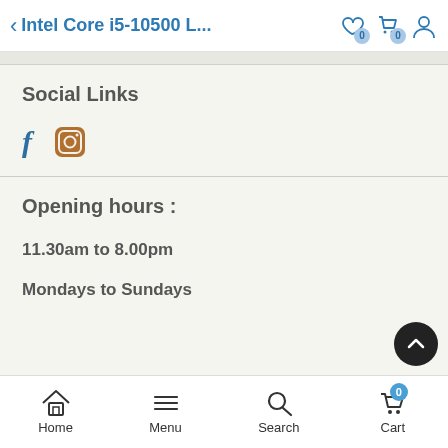Intel Core i5-10500 L...
Social Links
[Figure (other): Social media icons: Facebook (f) and Instagram (camera icon)]
Opening hours :
11.30am to 8.00pm
Mondays to Sundays
Home  Menu  Search  Cart